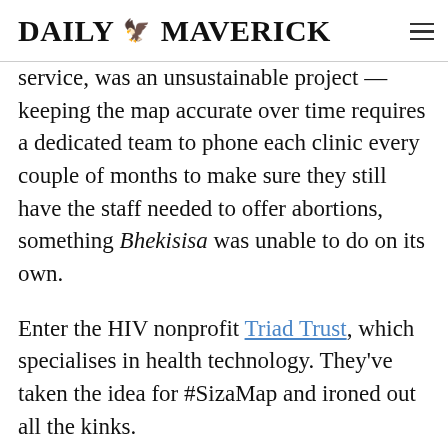DAILY MAVERICK
service, was an unsustainable project — keeping the map accurate over time requires a dedicated team to phone each clinic every couple of months to make sure they still have the staff needed to offer abortions, something Bhekisisa was unable to do on its own.
Enter the HIV nonprofit Triad Trust, which specialises in health technology. They've taken the idea for #SizaMap and ironed out all the kinks.
The Triad Trust has specially trained teams of people to keep the map updated, and they've got the coding know-how to make it all run smoothly.
These teams phone government and private clinics in the country every three to six months to